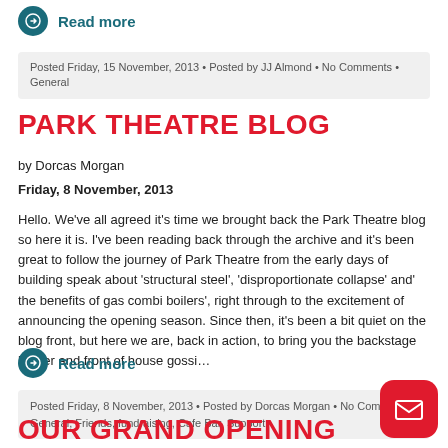Read more
Posted Friday, 15 November, 2013 • Posted by JJ Almond • No Comments • General
PARK THEATRE BLOG
by Dorcas Morgan
Friday, 8 November, 2013
Hello. We've all agreed it's time we brought back the Park Theatre blog so here it is. I've been reading back through the archive and it's been great to follow the journey of Park Theatre from the early days of building speak about 'structural steel', 'disproportionate collapse' and' the benefits of gas combi boilers', right through to the excitement of announcing the opening season. Since then, it's been a bit quiet on the blog front, but here we are, back in action, to bring you the backstage banter and front of house gossi…
Read more
Posted Friday, 8 November, 2013 • Posted by Dorcas Morgan • No Comments • General, Friends, fundraising, Cafe Bar, Support
OUR GRAND OPENING SEASON